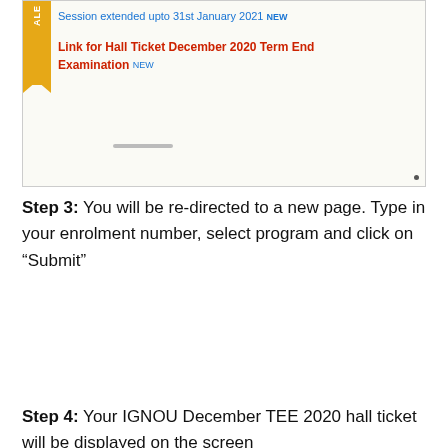[Figure (screenshot): Screenshot of a university portal showing an alert ribbon with 'Session extended upto 31st January 2021 NEW' and a red link 'Link for Hall Ticket December 2020 Term End Examination NEW']
Step 3: You will be re-directed to a new page. Type in your enrolment number, select program and click on “Submit”
Step 4: Your IGNOU December TEE 2020 hall ticket will be displayed on the screen
Step 5: Download the IGNOU hall ticket 2020 and